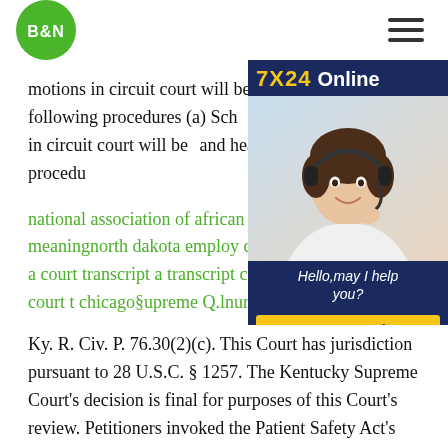B&N logo and navigation menu
motions in circuit court will be scheduled using the following procedures (a) Sch civil case motions in circuit court will be and heard using the following procedu
[Figure (photo): 7X24 Online advertisement banner with a customer service representative wearing a headset, smiling. Text: Hello,may I help you? and Get Latest Price button.]
national association of african america causation meaningnorth dakota emplo case studieshow to cite a court transcr a transcript chicagohow to cite a court chicago§upreme Q.lnurt nf tqe Uuiteh
Ky. R. Civ. P. 76.30(2)(c). This Court has jurisdiction pursuant to 28 U.S.C. § 1257. The Kentucky Supreme Court's decision is final for purposes of this Court's review. Petitioners invoked the Patient Safety Act's privilege by seeking a writ of prohibition in the